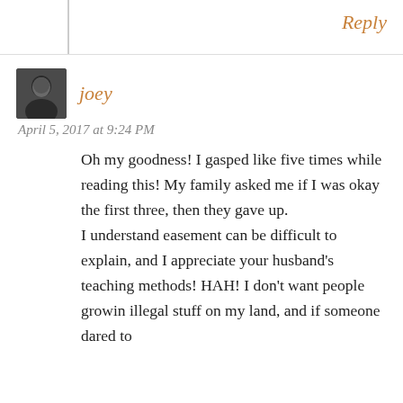Reply
joey
April 5, 2017 at 9:24 PM
Oh my goodness! I gasped like five times while reading this! My family asked me if I was okay the first three, then they gave up.
I understand easement can be difficult to explain, and I appreciate your husband's teaching methods! HAH! I don't want people growin illegal stuff on my land, and if someone dared to